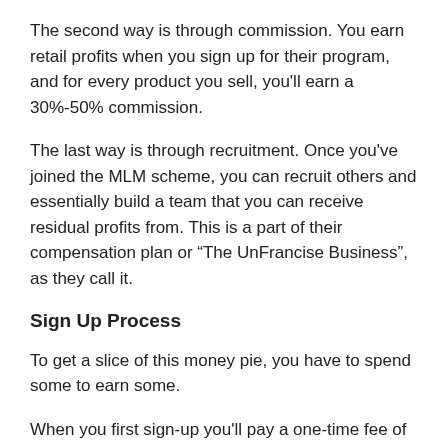The second way is through commission. You earn retail profits when you sign up for their program, and for every product you sell, you'll earn a 30%-50% commission.
The last way is through recruitment. Once you've joined the MLM scheme, you can recruit others and essentially build a team that you can receive residual profits from. This is a part of their compensation plan or “The UnFrancise Business”, as they call it.
Sign Up Process
To get a slice of this money pie, you have to spend some to earn some.
When you first sign-up you'll pay a one-time fee of $399, this payment includes your first month's subscription as well as your starter kit. After that, you'll pay a $129 monthly subscription fee.
In the subscription, you'll get: